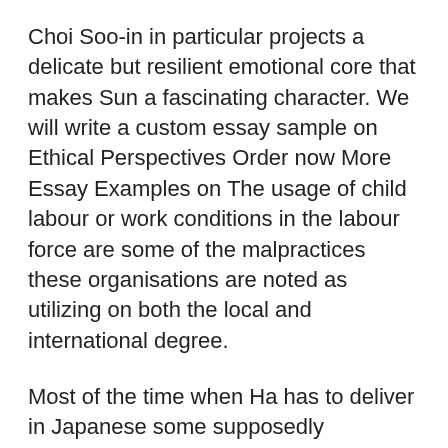Choi Soo-in in particular projects a delicate but resilient emotional core that makes Sun a fascinating character. We will write a custom essay sample on Ethical Perspectives Order now More Essay Examples on The usage of child labour or work conditions in the labour force are some of the malpractices these organisations are noted as utilizing on both the local and international degree.
Most of the time when Ha has to deliver in Japanese some supposedly sophisticated speeches on the European literary tradition or whatnot, or croon embarrassingly "romantic" dialogues to Kim Min-hee, I am afraid I was taken right out of the movie. We'll email to you the Microsoft Word file within 10 hours.
PharmaCARE should hence take the necessary steps to extend to the population of Colberia to see what can be